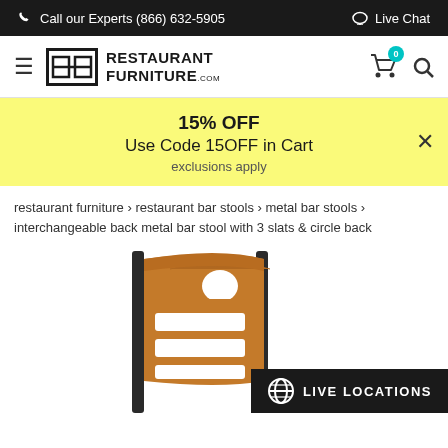Call our Experts (866) 632-5905   Live Chat
[Figure (logo): Restaurant Furniture .com logo with HH icon]
15% OFF
Use Code 15OFF in Cart
exclusions apply
restaurant furniture › restaurant bar stools › metal bar stools › interchangeable back metal bar stool with 3 slats & circle back
[Figure (photo): Bar stool with wood slat back and circle cutout on black metal frame, cherry wood finish, partial view from back]
LIVE LOCATIONS